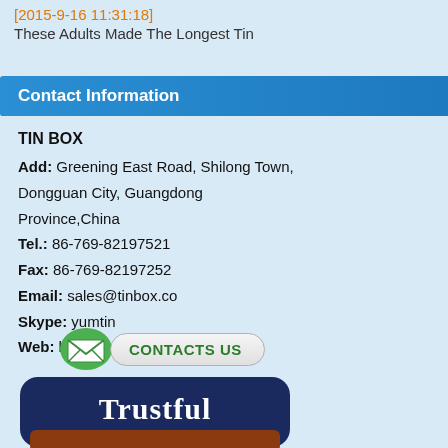[2015-9-16 11:31:18]
These Adults Made The Longest Tin
Contact Information
TIN BOX
Add: Greening East Road, Shilong Town, Dongguan City, Guangdong Province,China
Tel.: 86-769-82197521
Fax: 86-769-82197252
Email: sales@tinbox.co
Skype: yumtin
Web: http://www.tinbox.co
[Figure (illustration): Green envelope icon with CONTACTS US button]
[Figure (logo): Trustful badge logo in dark blue and brown]
Your have been inquired 0 item.
window rectangular biscuit window rectangular biscuit COMPANY. We are professional custom window rectangular from China window rectangular Wholesale window rectangu
ENHANCEMENT